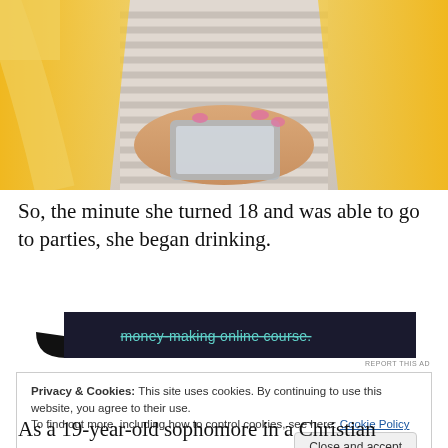[Figure (photo): Photo of a young woman in a yellow cardigan and striped shirt holding a smartphone, with pink nail polish visible on her hands.]
So, the minute she turned 18 and was able to go to parties, she began drinking.
[Figure (other): Advertisement banner with dark background showing text 'money-making online course.' in teal strikethrough text.]
REPORT THIS AD
Privacy & Cookies: This site uses cookies. By continuing to use this website, you agree to their use.
To find out more, including how to control cookies, see here: Cookie Policy
As a 19-year-old sophomore in a Christian college, she